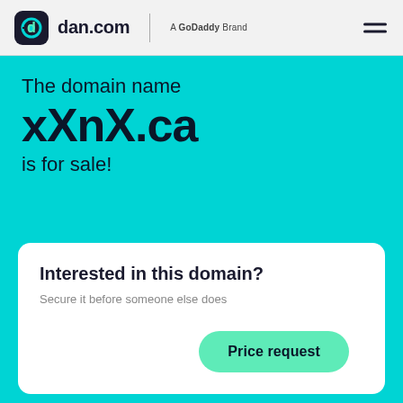[Figure (logo): dan.com logo with GoDaddy Brand text and hamburger menu icon in a light gray header bar]
The domain name xXnX.ca is for sale!
Interested in this domain?
Price request